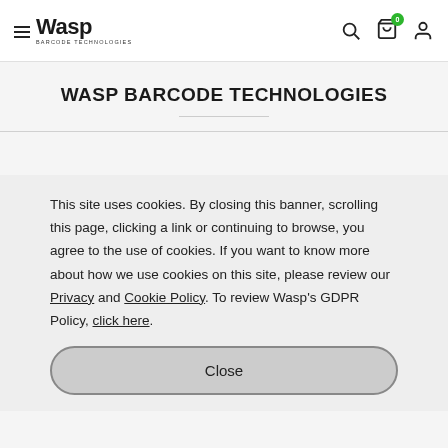Wasp Barcode Technologies – Navigation header with logo, search, cart (0), and account icons
WASP BARCODE TECHNOLOGIES
This site uses cookies. By closing this banner, scrolling this page, clicking a link or continuing to browse, you agree to the use of cookies. If you want to know more about how we use cookies on this site, please review our Privacy and Cookie Policy. To review Wasp's GDPR Policy, click here.
Close